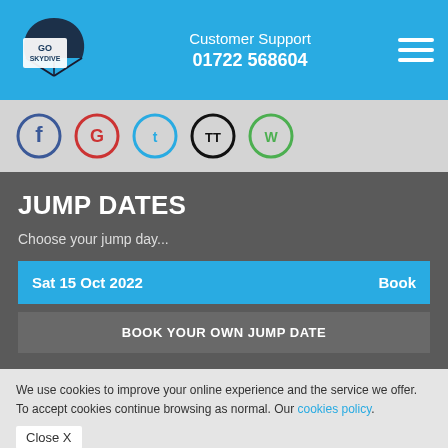Customer Support 01722 568604
[Figure (logo): Go Skydive logo with parachute icon]
[Figure (infographic): Social media icons: Facebook (blue), Google (red), Twitter (blue), TikTok (black), WhatsApp (green)]
JUMP DATES
Choose your jump day...
Sat 15 Oct 2022   Book
BOOK YOUR OWN JUMP DATE
We use cookies to improve your online experience and the service we offer. To accept cookies continue browsing as normal. Our cookies policy.
Close X